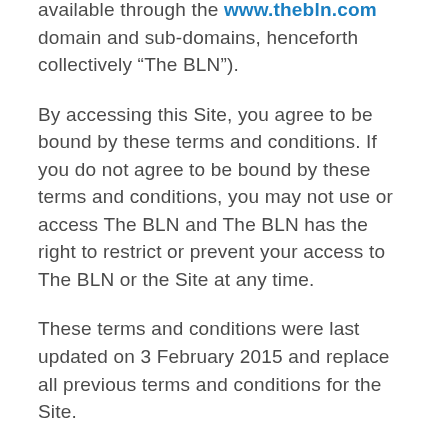available through the www.thebln.com domain and sub-domains, henceforth collectively “The BLN”).
By accessing this Site, you agree to be bound by these terms and conditions. If you do not agree to be bound by these terms and conditions, you may not use or access The BLN and The BLN has the right to restrict or prevent your access to The BLN or the Site at any time.
These terms and conditions were last updated on 3 February 2015 and replace all previous terms and conditions for the Site.
The BLN may change, alter or withdraw any part